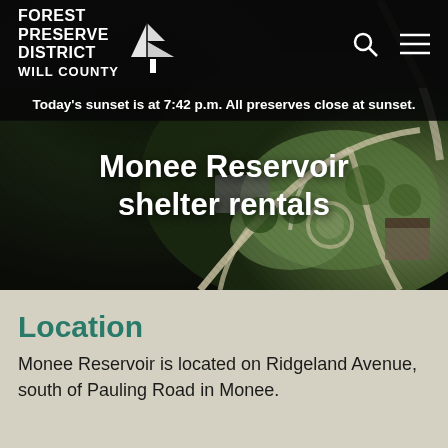Forest Preserve District Will County
Today’s sunset is at 7:42 p.m. All preserves close at sunset.
[Figure (photo): Aerial photograph of Monee Reservoir park area showing paths, green spaces, parking lot, and facilities from above]
Monee Reservoir shelter rentals
Location
Monee Reservoir is located on Ridgeland Avenue, south of Pauling Road in Monee.